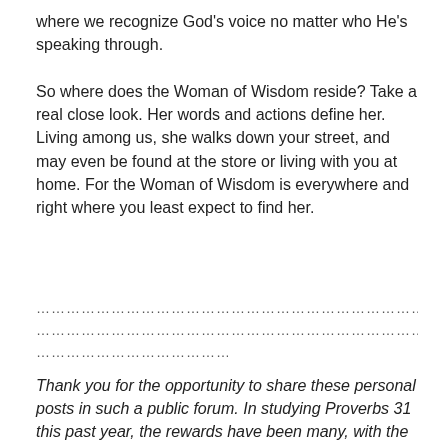where we recognize God's voice no matter who He's speaking through.
So where does the Woman of Wisdom reside? Take a real close look. Her words and actions define her.  Living among us, she walks down your street, and may even be found at the store or living with you at home. For the Woman of Wisdom is everywhere and right where you least expect to find her.
……………………………………………………………………………
……………………………………………………………………………
…………………………………
Thank you for the opportunity to share these personal posts in such a public forum. In studying Proverbs 31 this past year, the rewards have been many, with the sheer abundance in studying this blessing about the